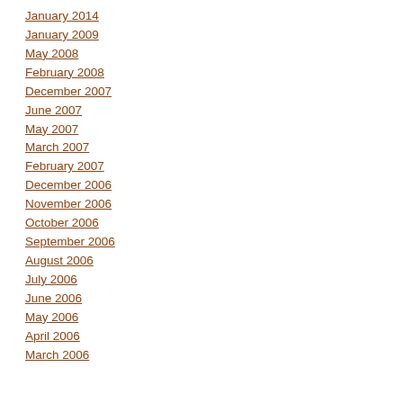January 2014
January 2009
May 2008
February 2008
December 2007
June 2007
May 2007
March 2007
February 2007
December 2006
November 2006
October 2006
September 2006
August 2006
July 2006
June 2006
May 2006
April 2006
March 2006